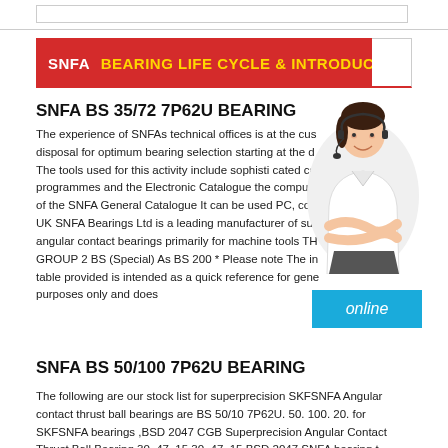SNFA BEARING LIFE CYCLE & INTRODUCED
SNFA BS 35/72 7P62U BEARING
The experience of SNFAs technical offices is at the customer disposal for optimum bearing selection starting at the design stage. The tools used for this activity include sophisti cated calculation programmes and the Electronic Catalogue the computerised version of the SNFA General Catalogue It can be used PC, computers UK SNFA Bearings Ltd is a leading manufacturer of super-precision angular contact bearings primarily for machine tools THE SERIES GROUP 2 BS (Special) As BS 200 * Please note The information table provided is intended as a quick reference for general guidance purposes only and does
[Figure (photo): Customer service representative woman with headset smiling]
online
SNFA BS 50/100 7P62U BEARING
The following are our stock list for superprecision SKFSNFA Angular contact thrust ball bearings are BS 50/10 7P62U. 50. 100. 20. for SKFSNFA bearings ,BSD 2047 CGB Superprecision Angular Contact Thrust Ball Bearing 30, 47, 15 30, 47, 15 BSD 2047 SNFA bearing